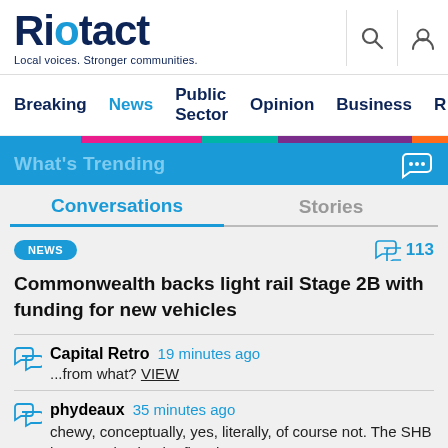[Figure (logo): Riotact logo with tagline 'Local voices. Stronger communities.']
Breaking  News  Public Sector  Opinion  Business
[Figure (infographic): Colored navigation bar strips: blue, pink, teal, purple, orange]
What's Trending
Conversations | Stories tabs
NEWS badge | 113 comments
Commonwealth backs light rail Stage 2B with funding for new vehicles
Capital Retro  19 minutes ago
...from what? VIEW
phydeaux  35 minutes ago
chewy, conceptually, yes, literally, of course not. The SHB happened to be the first that came to...  VIEW